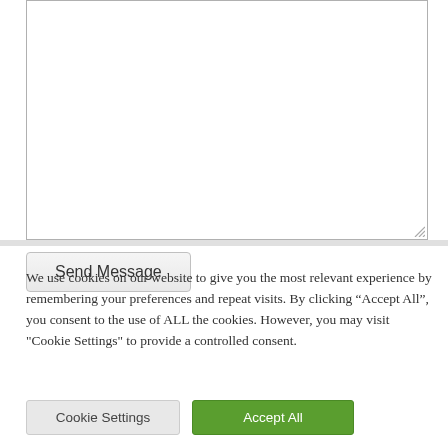[Figure (screenshot): A textarea form field with a resize handle in the bottom-right corner]
Send Message
We use cookies on our website to give you the most relevant experience by remembering your preferences and repeat visits. By clicking “Accept All”, you consent to the use of ALL the cookies. However, you may visit "Cookie Settings" to provide a controlled consent.
Cookie Settings
Accept All